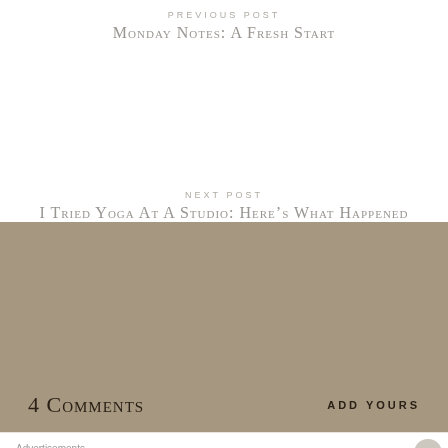PREVIOUS POST
Monday Notes: A Fresh Start
NEXT POST
I Tried Yoga At A Studio: Here's What Happened
4 Comments
ADD YOURS
Advertisements
Need a website quickly – and on a budget?